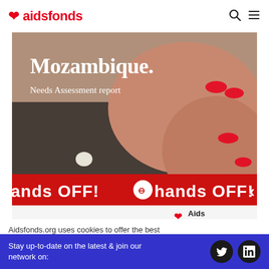aidsfonds
[Figure (photo): Mozambique Needs Assessment report cover image showing hands with red nail polish, a pearl button, overlaid with red 'hands OFF!' banner and Aids Fonds logo]
Aidsfonds.org uses cookies to offer the best
Stay up-to-date on the latest & join our network on: